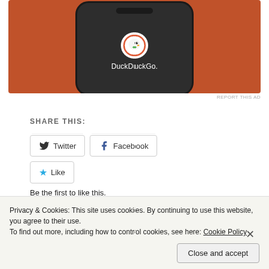[Figure (screenshot): DuckDuckGo app advertisement showing a phone mockup with the DuckDuckGo logo and name on an orange background]
REPORT THIS AD
SHARE THIS:
Twitter
Facebook
Like
Be the first to like this.
RELATED
Privacy & Cookies: This site uses cookies. By continuing to use this website, you agree to their use.
To find out more, including how to control cookies, see here: Cookie Policy
Close and accept